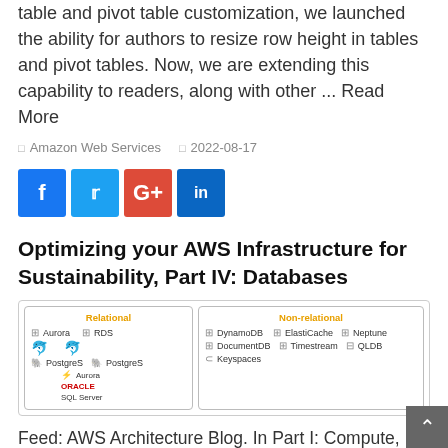table and pivot table customization, we launched the ability for authors to resize row height in tables and pivot tables. Now, we are extending this capability to readers, along with other ... Read More
Amazon Web Services   2022-08-17
[Figure (infographic): Social share buttons: Facebook (blue), Twitter (light blue), Google+ (red), LinkedIn (dark blue)]
Optimizing your AWS Infrastructure for Sustainability, Part IV: Databases
[Figure (infographic): AWS database services diagram divided into Relational (Aurora, RDS, MySQL, PostgreSQL, Aurora, ORACLE, SQL Server) and Non-relational (DynamoDB, ElastiCache, Neptune, DocumentDB, Timestream, QLDB, Keyspaces) categories]
Feed: AWS Architecture Blog. In Part I: Compute, Part II: Storage, and Part III: Networking of this series, we introduced strategies to optimize the compute, storage, and networking layers of your AWS architecture for sustainability. This post, Part IV focuses on the